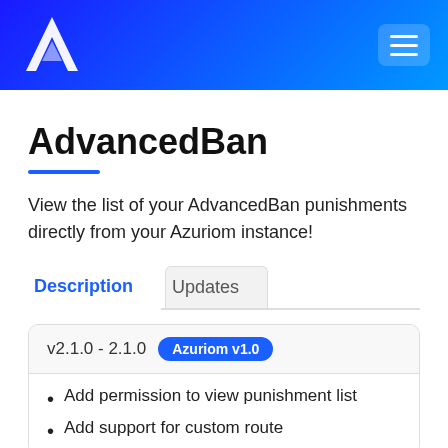[Figure (logo): Azuriom logo — a white letter A on a blue gradient background, with a hamburger menu button in the top right corner]
AdvancedBan
View the list of your AdvancedBan punishments directly from your Azuriom instance!
Description | Updates (tabs)
v2.1.0 - 2.1.0  Azuriom v1.0
Add permission to view punishment list
Add support for custom route